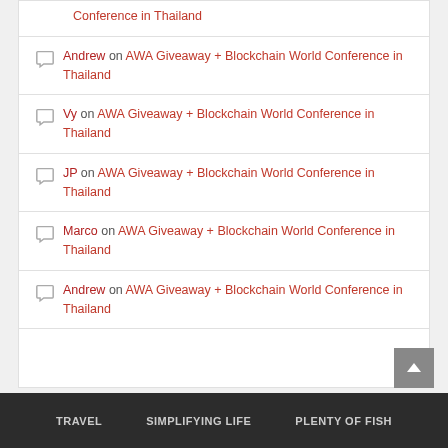Conference in Thailand
Andrew on AWA Giveaway + Blockchain World Conference in Thailand
Vy on AWA Giveaway + Blockchain World Conference in Thailand
JP on AWA Giveaway + Blockchain World Conference in Thailand
Marco on AWA Giveaway + Blockchain World Conference in Thailand
Andrew on AWA Giveaway + Blockchain World Conference in Thailand
TRAVEL   SIMPLIFYING LIFE   PLENTY OF FISH